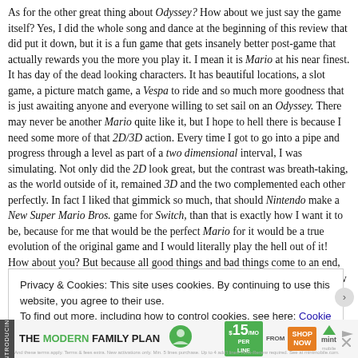As for the other great thing about Odyssey? How about we just say the game itself? Yes, I did the whole song and dance at the beginning of this review that did put it down, but it is a fun game that gets insanely better post-game that actually rewards you the more you play it. I mean it is Mario at his near finest. It has day of the dead looking characters. It has beautiful locations, a slot game, a picture match game, a Vespa to ride and so much more goodness that is just awaiting anyone and everyone willing to set sail on an Odyssey. There may never be another Mario quite like it, but I hope to hell there is because I need some more of that 2D/3D action. Every time I got to go into a pipe and progress through a level as part of a two dimensional interval, I was simulating. Not only did the 2D look great, but the contrast was breath-taking, as the world outside of it, remained 3D and the two complemented each other perfectly. In fact I liked that gimmick so much, that should Nintendo make a New Super Mario Bros. game for Switch, than that is exactly how I want it to be, because for me that would be the perfect Mario for it would be a true evolution of the original game and I would literally play the hell out of it! How about you? But because all good things and bad things come to an end, and my fingertips are nearly worn away from typing all of this lengthy review that is well over 4000 that is ridiculous, it is time we bring this review to an end, especially since it means I can go back to playing Odyssey!
Privacy & Cookies: This site uses cookies. By continuing to use this website, you agree to their use.
To find out more, including how to control cookies, see here: Cookie Policy
[Figure (infographic): Mint Mobile advertisement banner: THE MODERN FAMILY PLAN, FROM $15/MO PER LINE, SHOP NOW, mint mobile logo]